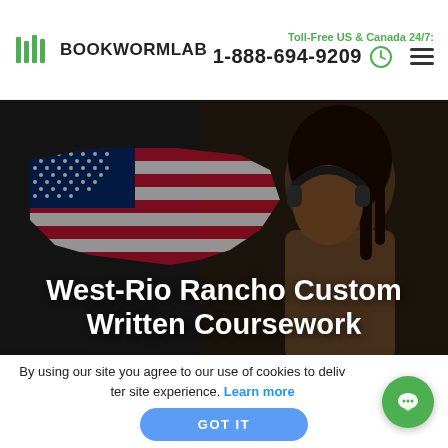BOOKWORMLAB | Toll-Free US & Canada 24/7: 1-888-694-9209
[Figure (photo): Hero banner showing a Black woman student studying with headphones on, overlaid with a silhouette map of the USA displaying an American flag pattern. Dark moody library background.]
West-Rio Rancho Custom Written Coursework
By using our site you agree to our use of cookies to deliver a better site experience. Learn more
GOT IT